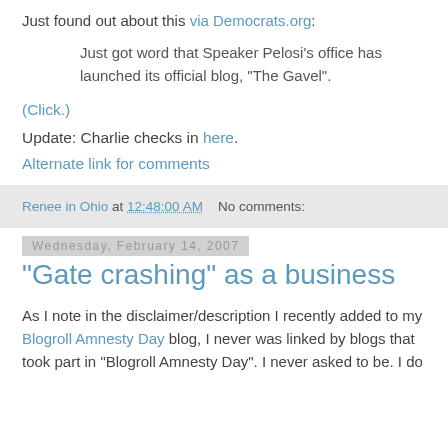Just found out about this via Democrats.org:
Just got word that Speaker Pelosi’s office has launched its official blog, "The Gavel".
(Click.)
Update: Charlie checks in here.
Alternate link for comments
Renee in Ohio at 12:48:00 AM   No comments:
Wednesday, February 14, 2007
"Gate crashing" as a business
As I note in the disclaimer/description I recently added to my Blogroll Amnesty Day blog, I never was linked by blogs that took part in "Blogroll Amnesty Day". I never asked to be. I do